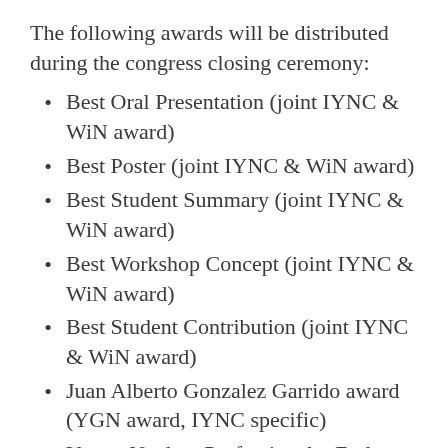The following awards will be distributed during the congress closing ceremony:
Best Oral Presentation (joint IYNC & WiN award)
Best Poster (joint IYNC & WiN award)
Best Student Summary (joint IYNC & WiN award)
Best Workshop Concept (joint IYNC & WiN award)
Best Student Contribution (joint IYNC & WiN award)
Juan Alberto Gonzalez Garrido award (YGN award, IYNC specific)
Young Nuclear Professional – Early